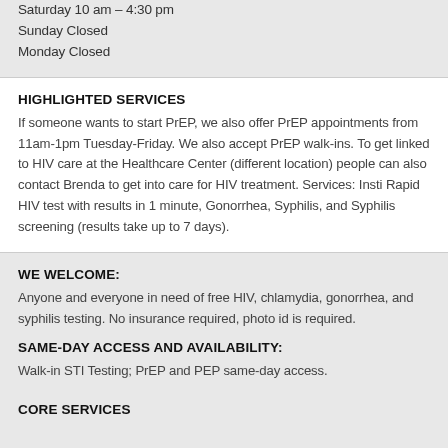Saturday 10 am – 4:30 pm
Sunday Closed
Monday Closed
HIGHLIGHTED SERVICES
If someone wants to start PrEP, we also offer PrEP appointments from 11am-1pm Tuesday-Friday. We also accept PrEP walk-ins. To get linked to HIV care at the Healthcare Center (different location) people can also contact Brenda to get into care for HIV treatment. Services: Insti Rapid HIV test with results in 1 minute, Gonorrhea, Syphilis, and Syphilis screening (results take up to 7 days).
WE WELCOME:
Anyone and everyone in need of free HIV, chlamydia, gonorrhea, and syphilis testing. No insurance required, photo id is required.
SAME-DAY ACCESS AND AVAILABILITY:
Walk-in STI Testing; PrEP and PEP same-day access.
CORE SERVICES